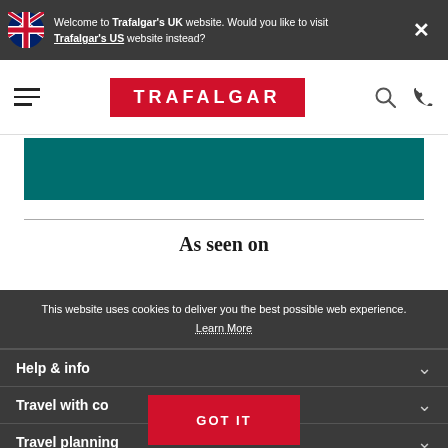Welcome to Trafalgar's UK website. Would you like to visit Trafalgar's US website instead?
[Figure (logo): Trafalgar logo — red background with white TRAFALGAR text]
[Figure (illustration): Dark teal/green banner image strip]
As seen on
This website uses cookies to deliver you the best possible web experience. Learn More
Help & info
Travel with co...
Travel planning
GOT IT